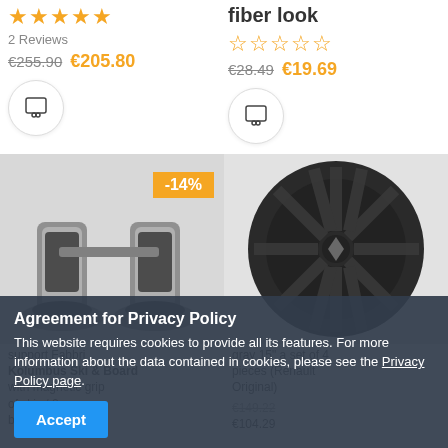★★★★★ 2 Reviews €255.90 €205.80
fiber look ☆☆☆☆☆ €28.49 €19.69
[Figure (photo): Two grey ski/board suction cup holders on a white/grey background with a -14% orange discount badge]
[Figure (photo): A dark grey/black multi-spoke car wheel hubcap (Renault) on a light grey background]
support Fabbri Kolumbus Ski & Board with magnetic grip of skis / 2 boards
gray 15" a set of 4 pieces (Renault Original)
€104.29
Agreement for Privacy Policy
This website requires cookies to provide all its features. For more information about the data contained in cookies, please see the Privacy Policy page.